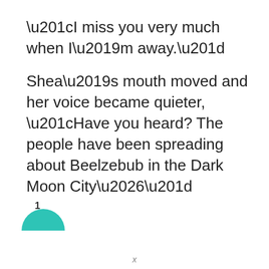“I miss you very much when I’m away.”
Shea’s mouth moved and her voice became quieter, “Have you heard? The people have been spreading about Beelzebub in the Dark Moon City…”
1